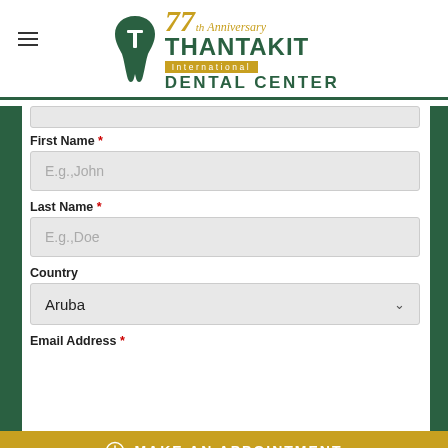[Figure (logo): 77th Anniversary Thantakit International Dental Center logo with tooth graphic in green and gold colors]
First Name *
E.g.,John
Last Name *
E.g.,Doe
Country
Aruba
Email Address *
MAKE AN APPOINTMENT